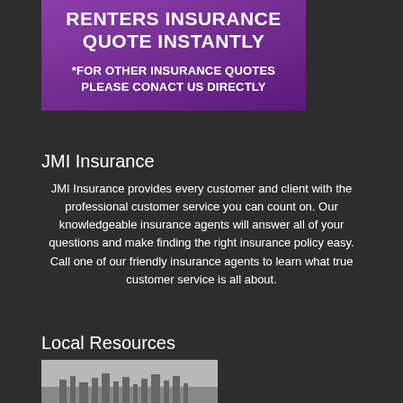[Figure (infographic): Purple banner with bold white text reading 'RENTERS INSURANCE QUOTE INSTANTLY' and below '*FOR OTHER INSURANCE QUOTES PLEASE CONACT US DIRECTLY']
JMI Insurance
JMI Insurance provides every customer and client with the professional customer service you can count on. Our knowledgeable insurance agents will answer all of your questions and make finding the right insurance policy easy. Call one of our friendly insurance agents to learn what true customer service is all about.
Local Resources
[Figure (photo): Photo with a cityscape or building silhouette at the bottom, light gray background]